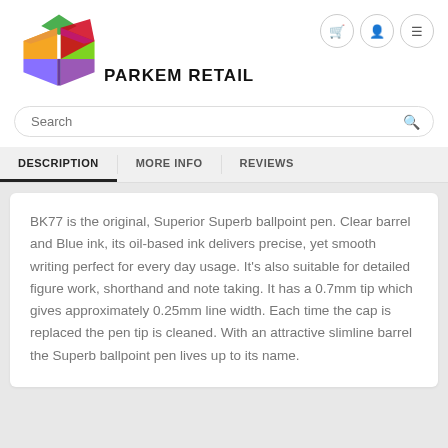[Figure (logo): Parkem Retail colorful open box logo with orange, green, blue/purple, and magenta colored flaps]
PARKEM RETAIL
Navigation icons: cart, user, menu
Search
DESCRIPTION | MORE INFO | REVIEWS
BK77 is the original, Superior Superb ballpoint pen. Clear barrel and Blue ink, its oil-based ink delivers precise, yet smooth writing perfect for every day usage. It's also suitable for detailed figure work, shorthand and note taking. It has a 0.7mm tip which gives approximately 0.25mm line width. Each time the cap is replaced the pen tip is cleaned. With an attractive slimline barrel the Superb ballpoint pen lives up to its name.